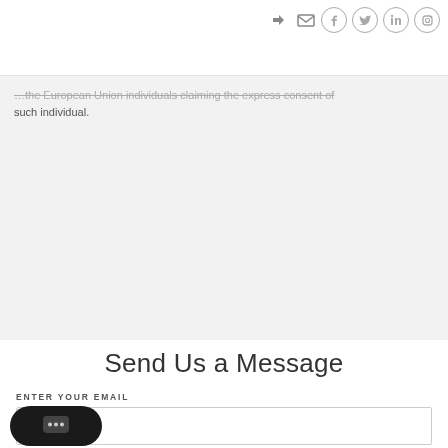[Figure (logo): e-Merge Real Estate logo with blue background and white 'e' symbol, text 'e-Merge REAL ESTATE' and 'e-Merge.com']
Navigation icons: sign-in, email, Facebook, Twitter, LinkedIn, Instagram. Hamburger menu button.
...the European Union individuals claiming the express consent of such individual.
Send Us a Message
ENTER YOUR EMAIL
ENTER YOUR CELL PHONE